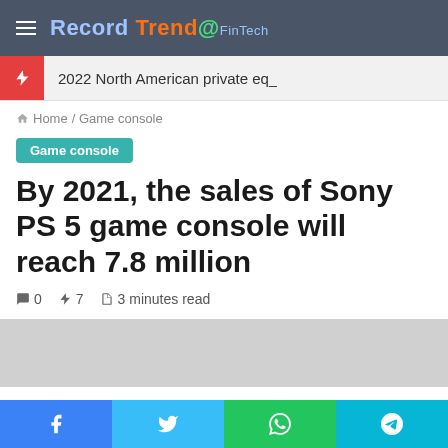Record Trend @FinTech
2022 North American private eq_
Home / Game console
Game console
By 2021, the sales of Sony PS 5 game console will reach 7.8 million
0  7  3 minutes read
[Figure (photo): Gray placeholder image area for article illustration]
Facebook  Twitter  WhatsApp  Telegram social share buttons